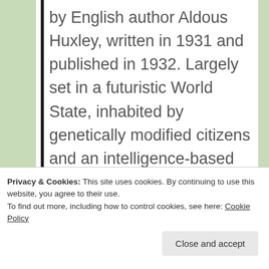by English author Aldous Huxley, written in 1931 and published in 1932. Largely set in a futuristic World State, inhabited by genetically modified citizens and an intelligence-based social hierarchy, the novel anticipates huge scientific advancements in reproductive technology, sleep-learning, psychological manipulation and classical conditioning that are
Privacy & Cookies: This site uses cookies. By continuing to use this website, you agree to their use.
To find out more, including how to control cookies, see here: Cookie Policy